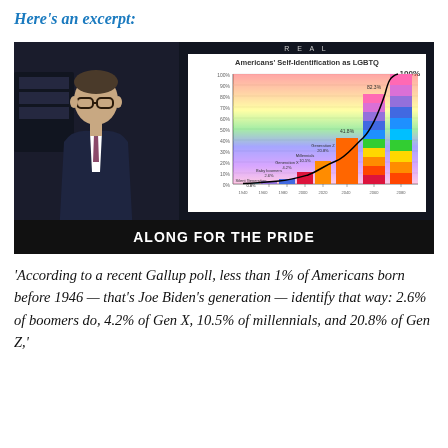Here's an excerpt:
[Figure (screenshot): TV screenshot of a man in a suit sitting at a desk, with a chart on the right showing 'Americans' Self-Identification as LGBTQ' with bars for each generation: Silent Generation 0.8%, Baby boomers 2.6%, Generation X 4.2%, Millennials 10.5%, Generation Z 20.8%, and a final bar at 41.8% and a line reaching 82.3% and 100%. The bottom subtitle reads 'ALONG FOR THE PRIDE'.]
'According to a recent Gallup poll, less than 1% of Americans born before 1946 — that's Joe Biden's generation — identify that way: 2.6% of boomers do, 4.2% of Gen X, 10.5% of millennials, and 20.8% of Gen Z,'